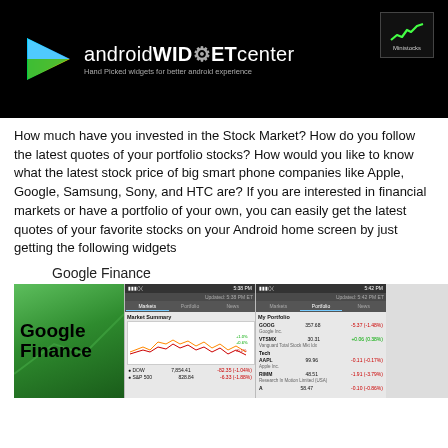[Figure (screenshot): Android Widget Center header banner with Play Store logo, brand name 'androidWIDGETcenter', tagline 'Hand Picked widgets for better android experience', and Ministocks app logo in top right corner]
How much have you invested in the Stock Market? How do you follow the latest quotes of your portfolio stocks? How would you like to know what the latest stock price of big smart phone companies like Apple, Google, Samsung, Sony, and HTC are? If you are interested in financial markets or have a portfolio of your own, you can easily get the latest quotes of your favorite stocks on your Android home screen by just getting the following widgets
Google Finance
[Figure (screenshot): Google Finance Android app screenshots showing Market Summary with stock chart and My Portfolio with GOOG 357.68 -5.37 (-1.48%), VTSMX 30.31 +0.06 (0.38%), AAPL 99.96 -0.11 (-0.17%), RIMM 48.51 -1.91 (-3.79%), A 58.47 -0.10 (-0.86%)]